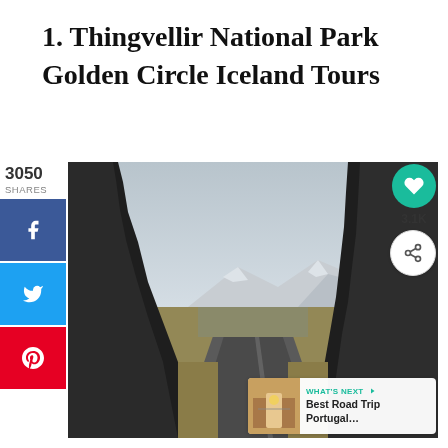1.  Thingvellir National Park Golden Circle Iceland Tours
[Figure (photo): Road through Thingvellir National Park in Iceland, with dark volcanic rock formations on either side, a straight road leading into the distance, snow-capped mountains in the background, overcast grey sky. Social sharing buttons visible on left (Facebook, Twitter, Pinterest) with 3050 shares. Heart icon and 3.1K count on right. 'What's Next' thumbnail in bottom right for Best Road Trip Portugal.]